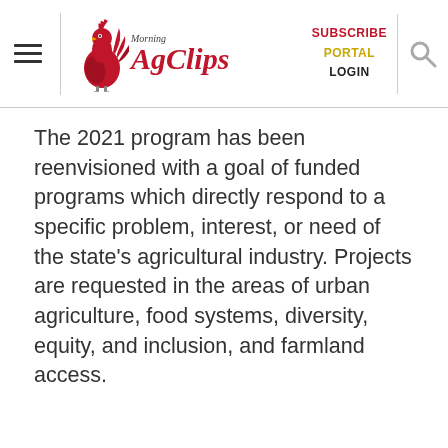Morning AgClips — SUBSCRIBE PORTAL LOGIN
The 2021 program has been reenvisioned with a goal of funded programs which directly respond to a specific problem, interest, or need of the state's agricultural industry. Projects are requested in the areas of urban agriculture, food systems, diversity, equity, and inclusion, and farmland access.